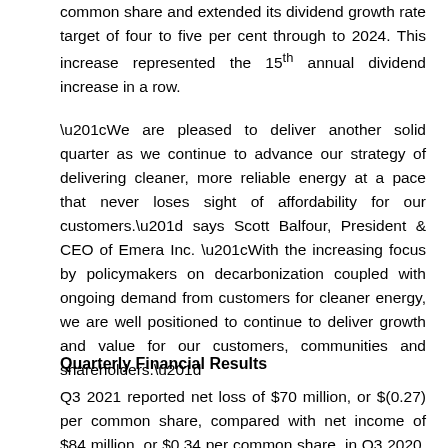common share and extended its dividend growth rate target of four to five per cent through to 2024. This increase represented the 15th annual dividend increase in a row.
“We are pleased to deliver another solid quarter as we continue to advance our strategy of delivering cleaner, more reliable energy at a pace that never loses sight of affordability for our customers.” says Scott Balfour, President & CEO of Emera Inc. “With the increasing focus by policymakers on decarbonization coupled with ongoing demand from customers for cleaner energy, we are well positioned to continue to deliver growth and value for our customers, communities and shareholders.”
Quarterly Financial Results
Q3 2021 reported net loss of $70 million, or $(0.27) per common share, compared with net income of $84 million, or $0.34 per common share, in Q3 2020. Q3